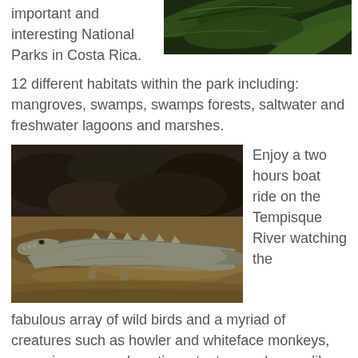important and interesting National Parks in Costa Rica.
[Figure (photo): Close-up of green tropical foliage/fern leaves, dark background]
12 different habitats within the park including: mangroves, swamps, swamps forests, saltwater and freshwater lagoons and marshes.
[Figure (photo): A crocodile resting on a muddy riverbank, dark rocky background]
Enjoy a two hours boat ride on the Tempisque River watching the fabulous array of wild birds and a myriad of creatures such as howler and whiteface monkeys, green iguanas and coatis, anteaters and crocodiles.